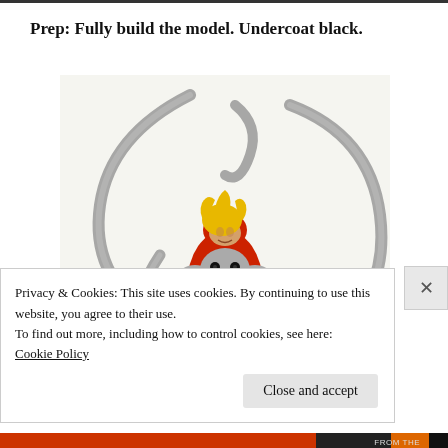Prep: Fully build the model. Undercoat black.
[Figure (photo): A painted miniature figurine depicting a character in red and silver armor with yellow hair, surrounded by multiple metallic tentacle-like appendages curving around the figure. The model is fully assembled and undercoated.]
Privacy & Cookies: This site uses cookies. By continuing to use this website, you agree to their use.
To find out more, including how to control cookies, see here:
Cookie Policy
Close and accept